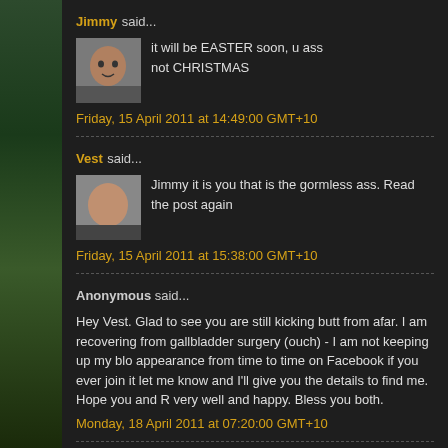Jimmy said...
it will be EASTER soon, u ass
not CHRISTMAS
Friday, 15 April 2011 at 14:49:00 GMT+10
Vest said...
Jimmy it is you that is the gormless ass. Read the post again
Friday, 15 April 2011 at 15:38:00 GMT+10
Anonymous said...
Hey Vest. Glad to see you are still kicking butt from afar. I am recovering from gallbladder surgery (ouch) - I am not keeping up my blo appearance from time to time on Facebook if you ever join it let me know and I'll give you the details to find me. Hope you and R very well and happy. Bless you both.
Monday, 18 April 2011 at 07:20:00 GMT+10
Vest said...